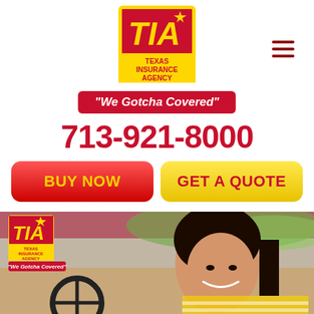[Figure (logo): Texas Insurance Agency (TIA) logo — red and yellow square logo with TIA letters and star, TEXAS INSURANCE AGENCY text below in red on yellow background]
"We Gotcha Covered"
713-921-8000
BUY NOW
GET A QUOTE
[Figure (photo): Young woman smiling while driving a red car, viewed through the driver-side window. A small TIA logo and 'We Gotcha Covered' tagline overlay is visible in the upper-left of the photo.]